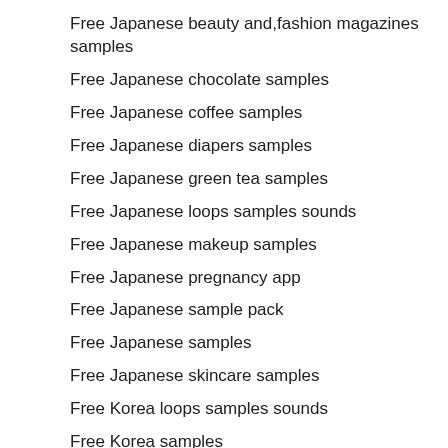Free Japanese beauty and,fashion magazines samples
Free Japanese chocolate samples
Free Japanese coffee samples
Free Japanese diapers samples
Free Japanese green tea samples
Free Japanese loops samples sounds
Free Japanese makeup samples
Free Japanese pregnancy app
Free Japanese sample pack
Free Japanese samples
Free Japanese skincare samples
Free Korea loops samples sounds
Free Korea samples
Free Korea skincare samples